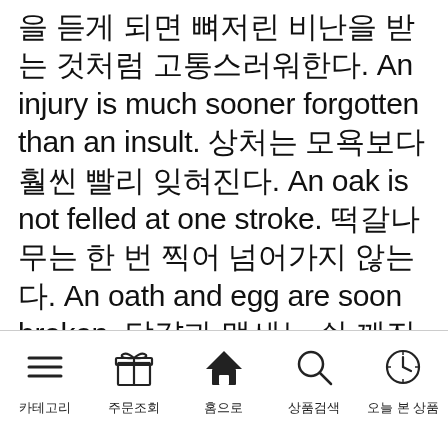을 듣게 되면 뼈저린 비난을 받는 것처럼 고통스러워한다. An injury is much sooner forgotten than an insult. 상처는 모욕보다 훨씬 빨리 잊혀진다. An oak is not felled at one stroke. 떡갈나무는 한 번 찍어 넘어가지 않는다. An oath and egg are soon broken. 달걀과 맹세는 쉬 깨진다. An old man is twice a
[Figure (infographic): Mobile app navigation bar with 5 icons: 카테고리 (hamburger menu), 주문조회 (gift box), 홈으로 (house/home), 상품검색 (search/magnifying glass), 오늘 본 상품 (clock)]